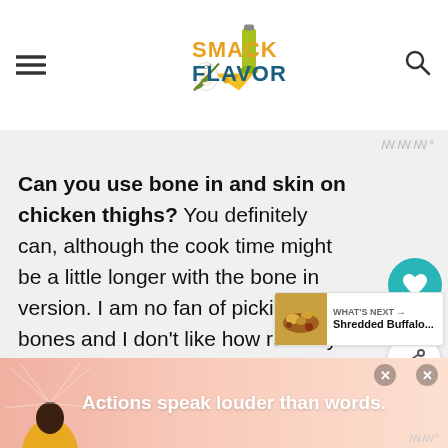SMACK of FLAVOR
Can you use bone in and skin on chicken thighs? You definitely can, although the cook time might be a little longer with the bone in version. I am no fan of picking out bones and I don't like how rubbery the skin gets in the pressure cooker. If neither of those things bother you...
[Figure (other): What's Next widget showing Shredded Buffalo... recipe thumbnail]
[Figure (other): Advertisement banner: Actions speak louder than words.]